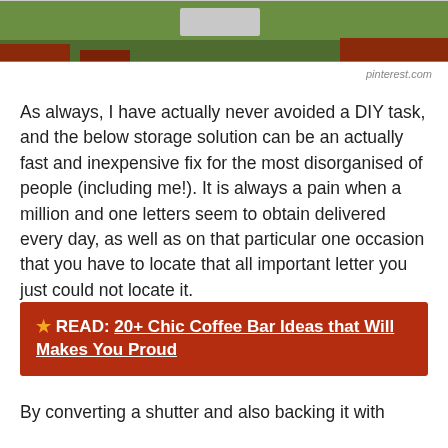[Figure (photo): Partial photo showing grass, bricks, and what appears to be a mailbox or storage unit at ground level]
pinterest.com
As always, I have actually never avoided a DIY task, and the below storage solution can be an actually fast and inexpensive fix for the most disorganised of people (including me!). It is always a pain when a million and one letters seem to obtain delivered every day, as well as on that particular one occasion that you have to locate that all important letter you just could not locate it.
★ READ:  20+ Chic Coffee Bar Ideas that Will Makes You Proud
By converting a shutter and also backing it with